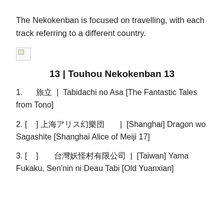The Nekokenban is focused on travelling, with each track referring to a different country.
[Figure (photo): Broken/missing image placeholder icon]
13 | Touhou Nekokenban 13
1.    旅立  |  Tabidachi no Asa [The Fantastic Tales from Tono]
2. [    ] 上海アリス幻樂団        |  [Shanghai] Dragon wo Sagashite [Shanghai Alice of Meiji 17]
3. [    ]       台灣妖怪村有限公司  |  [Taiwan] Yama Fukaku, Sen'nin ni Deau Tabi [Old Yuanxian]